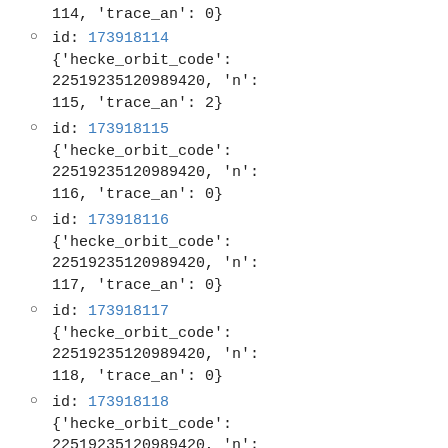114, 'trace_an': 0}
id: 173918114
{'hecke_orbit_code': 22519235120989420, 'n': 115, 'trace_an': 2}
id: 173918115
{'hecke_orbit_code': 22519235120989420, 'n': 116, 'trace_an': 0}
id: 173918116
{'hecke_orbit_code': 22519235120989420, 'n': 117, 'trace_an': 0}
id: 173918117
{'hecke_orbit_code': 22519235120989420, 'n': 118, 'trace_an': 0}
id: 173918118
{'hecke_orbit_code': 22519235120989420, 'n':